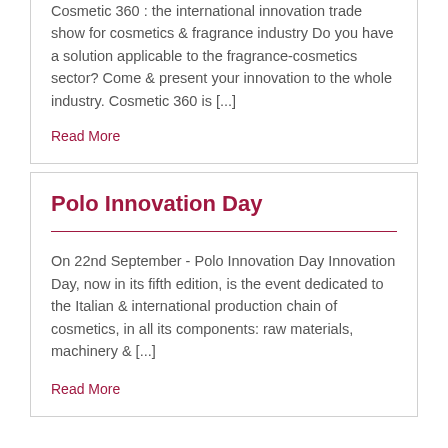Cosmetic 360 : the international innovation trade show for cosmetics & fragrance industry Do you have a solution applicable to the fragrance-cosmetics sector? Come & present your innovation to the whole industry. Cosmetic 360 is [...]
Read More
Polo Innovation Day
On 22nd September - Polo Innovation Day Innovation Day, now in its fifth edition, is the event dedicated to the Italian & international production chain of cosmetics, in all its components: raw materials, machinery & [...]
Read More